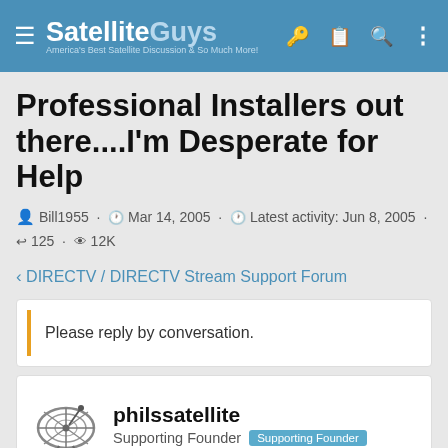SatelliteGuys - America's Best Satellite Discussion & So Much More!
Professional Installers out there....I'm Desperate for Help
Bill1955 · Mar 14, 2005 · Latest activity: Jun 8, 2005 · 125 · 12K
< DIRECTV / DIRECTV Stream Support Forum
Please reply by conversation.
philssatellite
Supporting Founder [Supporting Founder]
Mar 23, 2005  #61